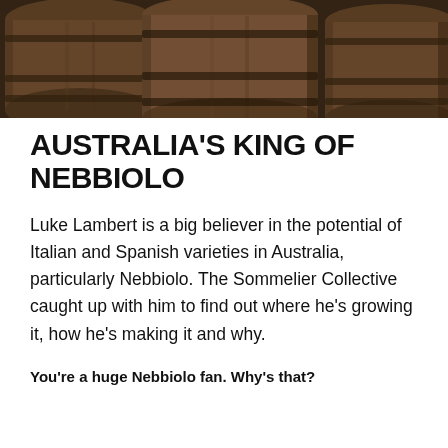[Figure (photo): Close-up photograph of wooden wine barrels stacked together, showing the dark curved surfaces and metal bands of the barrels.]
AUSTRALIA'S KING OF NEBBIOLO
Luke Lambert is a big believer in the potential of Italian and Spanish varieties in Australia, particularly Nebbiolo. The Sommelier Collective caught up with him to find out where he's growing it, how he's making it and why.
You're a huge Nebbiolo fan. Why's that?